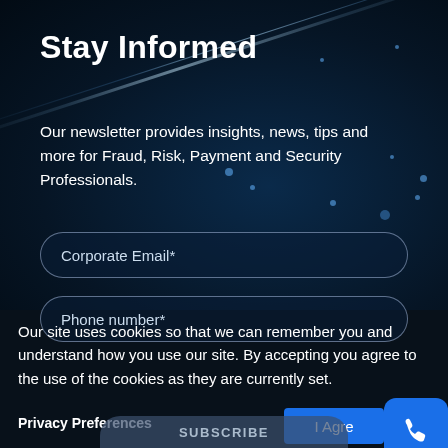Stay Informed
Our newsletter provides insights, news, tips and more for Fraud, Risk, Payment and Security Professionals.
Corporate Email*
Phone number*
Our site uses cookies so that we can remember you and understand how you use our site. By accepting you agree to the use of the cookies as they are currently set.
Privacy Preferences
I Agre
SUBSCRIBE